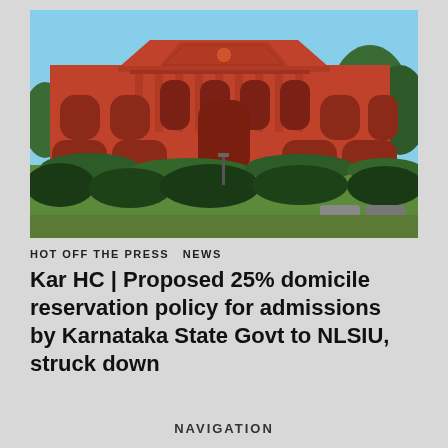[Figure (photo): Photograph of a large red colonial-era building with arched windows, columns, and a triangular pediment, surrounded by trees — the Karnataka High Court building in Bengaluru.]
HOT OFF THE PRESS  NEWS
Kar HC | Proposed 25% domicile reservation policy for admissions by Karnataka State Govt to NLSIU, struck down
NAVIGATION